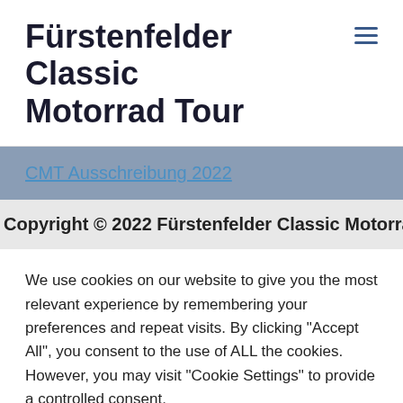Fürstenfelder Classic Motorrad Tour
CMT Ausschreibung 2022
Copyright © 2022 Fürstenfelder Classic Motorrad Tour
We use cookies on our website to give you the most relevant experience by remembering your preferences and repeat visits. By clicking "Accept All", you consent to the use of ALL the cookies. However, you may visit "Cookie Settings" to provide a controlled consent.
Cookie Settings | Alle akzeptieren